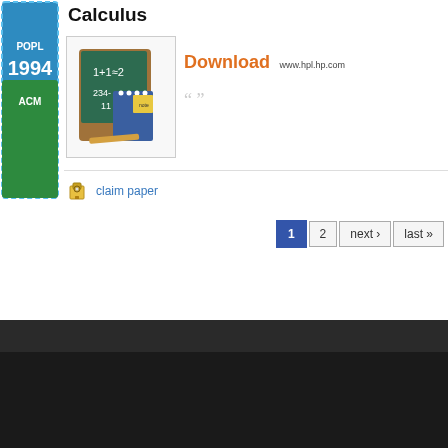[Figure (illustration): Green sidebar badge with POPL 1994 ACM label, dashed blue border]
Calculus
[Figure (illustration): Book icon showing a chalkboard with math equations 1+1=2 and 234, with a spiral notebook and sticky note]
Download www.hpl.hp.com
claim paper
1 2 next › last »